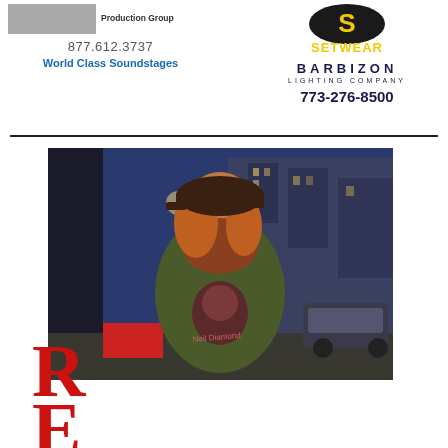[Figure (logo): Production Group logo with gray image placeholder and text '877.612.3737' and 'World Class Soundstages']
[Figure (logo): Setwear logo in yellow and black with S emblem, Barbizon Lighting Company text and phone number 773-276-8500]
[Figure (photo): A bearded man with reddish hair wearing a brown cap, olive jacket, and a Neil Diamond t-shirt, standing on a city street at night with buildings and parked cars in background]
R
E